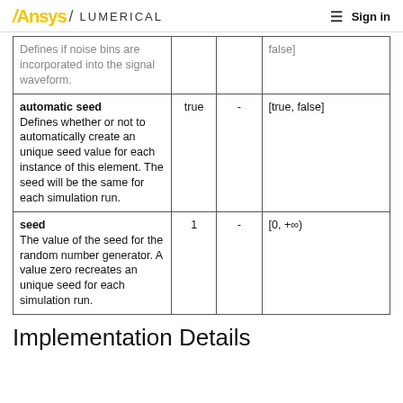Ansys / LUMERICAL   Sign in
| Name / Description | Default | Unit | Range |
| --- | --- | --- | --- |
| Defines if noise bins are incorporated into the signal waveform. |  |  | false] |
| automatic seed
Defines whether or not to automatically create an unique seed value for each instance of this element. The seed will be the same for each simulation run. | true | - | [true, false] |
| seed
The value of the seed for the random number generator. A value zero recreates an unique seed for each simulation run. | 1 | - | [0, +∞) |
Implementation Details